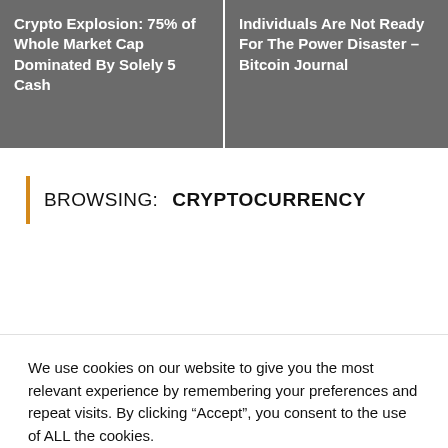Crypto Explosion: 75% of Whole Market Cap Dominated By Solely 5 Cash
Individuals Are Not Ready For The Power Disaster – Bitcoin Journal
BROWSING: CRYPTOCURRENCY
We use cookies on our website to give you the most relevant experience by remembering your preferences and repeat visits. By clicking “Accept”, you consent to the use of ALL the cookies.
Do not sell my personal information.
Cookie Settings
Accept